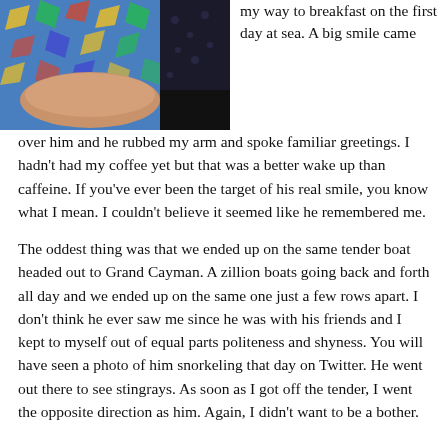[Figure (photo): Photo of a person wearing a colorful patterned outfit, partial view showing arm and torso against a dark background.]
my way to breakfast on the first day at sea. A big smile came over him and he rubbed my arm and spoke familiar greetings. I hadn't had my coffee yet but that was a better wake up than caffeine. If you've ever been the target of his real smile, you know what I mean. I couldn't believe it seemed like he remembered me.
The oddest thing was that we ended up on the same tender boat headed out to Grand Cayman. A zillion boats going back and forth all day and we ended up on the same one just a few rows apart. I don't think he ever saw me since he was with his friends and I kept to myself out of equal parts politeness and shyness. You will have seen a photo of him snorkeling that day on Twitter. He went out there to see stingrays. As soon as I got off the tender, I went the opposite direction as him. Again, I didn't want to be a bother.